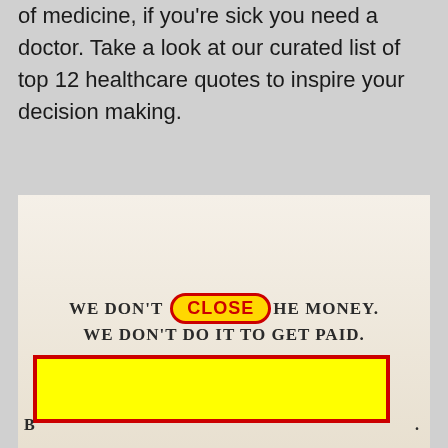of medicine, if you're sick you need a doctor. Take a look at our curated list of top 12 healthcare quotes to inspire your decision making.
[Figure (photo): A motivational healthcare quote image showing text 'We don't [close button overlay] he money. We don't do it to get paid.' with a large yellow rectangle with red border overlaying the bottom portion of the image. The image has a parchment/beige background.]